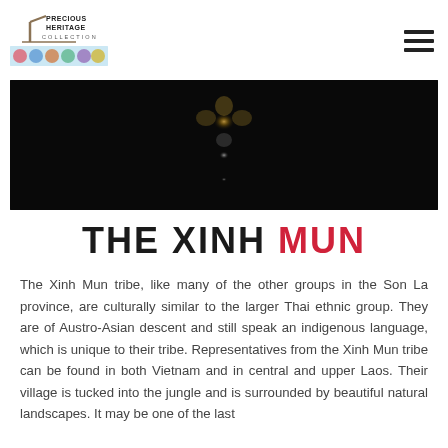Precious Heritage Collection [logo]
[Figure (photo): Dark background hero image showing blurred golden floral ornament or jewelry piece against a near-black background]
THE XINH MUN
The Xinh Mun tribe, like many of the other groups in the Son La province, are culturally similar to the larger Thai ethnic group. They are of Austro-Asian descent and still speak an indigenous language, which is unique to their tribe. Representatives from the Xinh Mun tribe can be found in both Vietnam and in central and upper Laos. Their village is tucked into the jungle and is surrounded by beautiful natural landscapes. It may be one of the last